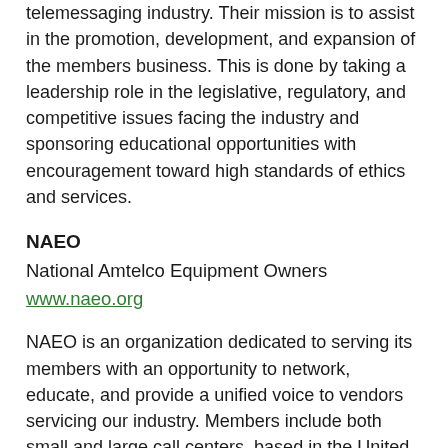telemessaging industry. Their mission is to assist in the promotion, development, and expansion of the members business. This is done by taking a leadership role in the legislative, regulatory, and competitive issues facing the industry and sponsoring educational opportunities with encouragement toward high standards of ethics and services.
NAEO
National Amtelco Equipment Owners
www.naeo.org
NAEO is an organization dedicated to serving its members with an opportunity to network, educate, and provide a unified voice to vendors servicing our industry. Members include both small and large call centers, based in the United States and around the world. Close communication is maintained by a strong email list-serve, a monthly on-line newsletter, and an annual convention. Recently added member benefits include the Amtelco wish list project, which provides member